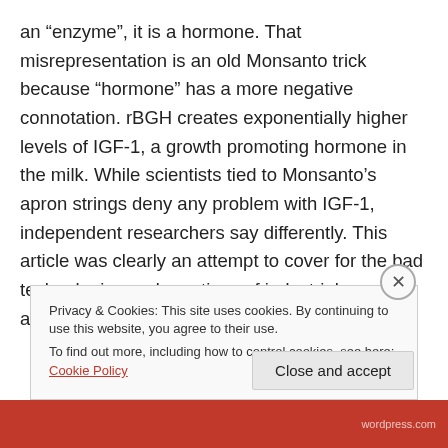an “enzyme”, it is a hormone. That misrepresentation is an old Monsanto trick because “homone” has a more negative connotation. rBGH creates exponentially higher levels of IGF-1, a growth promoting hormone in the milk. While scientists tied to Monsanto’s apron strings deny any problem with IGF-1, independent researchers say differently. This article was clearly an attempt to cover for the bad technologies and practices of industrial agriculture. Strong hints to big agribill...
Privacy & Cookies: This site uses cookies. By continuing to use this website, you agree to their use.
To find out more, including how to control cookies, see here: Cookie Policy
Close and accept